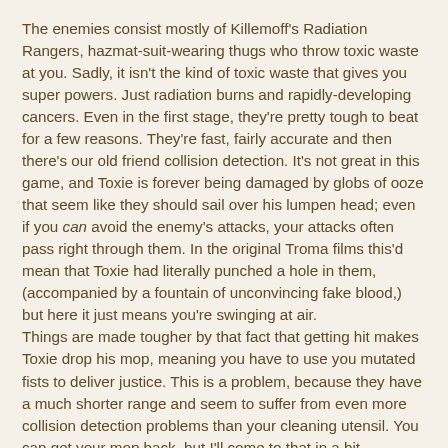The enemies consist mostly of Killemoff's Radiation Rangers, hazmat-suit-wearing thugs who throw toxic waste at you. Sadly, it isn't the kind of toxic waste that gives you super powers. Just radiation burns and rapidly-developing cancers. Even in the first stage, they're pretty tough to beat for a few reasons. They're fast, fairly accurate and then there's our old friend collision detection. It's not great in this game, and Toxie is forever being damaged by globs of ooze that seem like they should sail over his lumpen head; even if you can avoid the enemy's attacks, your attacks often pass right through them. In the original Troma films this'd mean that Toxie had literally punched a hole in them, (accompanied by a fountain of unconvincing fake blood,) but here it just means you're swinging at air.
Things are made tougher by that fact that getting hit makes Toxie drop his mop, meaning you have to use you mutated fists to deliver justice. This is a problem, because they have a much shorter range and seem to suffer from even more collision detection problems than your cleaning utensil. You can get your mop back, but I'll come to that in a bit.